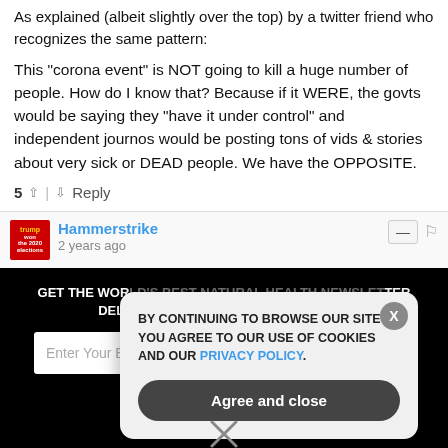As explained (albeit slightly over the top) by a twitter friend who recognizes the same pattern:
This "corona event" is NOT going to kill a huge number of people. How do I know that? Because if it WERE, the govts would be saying they "have it under control" and independent journos would be posting tons of vids & stories about very sick or DEAD people. We have the OPPOSITE.
5 ^ | v Reply
Hammerstrike
2 years ago
[Figure (screenshot): Dark newsletter signup section with cookie consent popup overlay. Cookie popup says: BY CONTINUING TO BROWSE OUR SITE YOU AGREE TO OUR USE OF COOKIES AND OUR PRIVACY POLICY. with Agree and close button. Background shows GET THE WORLD'S BEST NATURAL HEALTH NEWSLETTER DELIVERED STRAIGHT TO YOUR INBOX email signup form.]